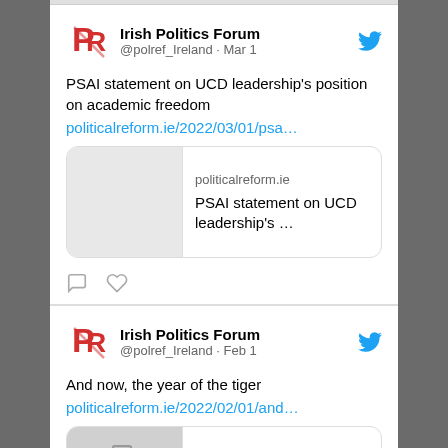[Figure (screenshot): Twitter/X feed showing two tweets from Irish Politics Forum (@polref_Ireland). First tweet dated Mar 1 about PSAI statement on UCD leadership's position on academic freedom with link to politicalreform.ie. Second tweet dated Feb 1 saying 'And now, the year of the tiger' with link to politicalreform.ie.]